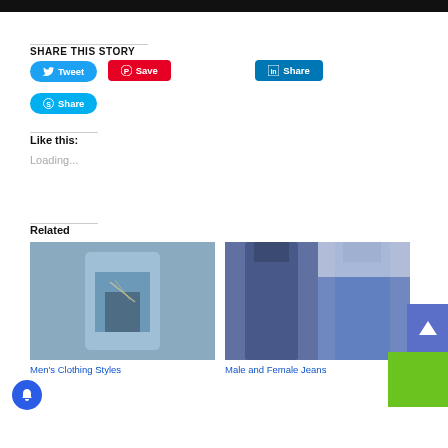[Figure (screenshot): Black bar at top of page (cropped image)]
SHARE THIS STORY
[Figure (infographic): Social sharing buttons: Tweet (Twitter blue), Save (Pinterest red), Share (LinkedIn blue), Share (Skype blue)]
Like this:
Loading...
Related
[Figure (photo): Photo of a person in men's clothing style, blue outfit with jewelry]
Men's Clothing Styles
[Figure (photo): Photo showing male and female jeans side by side]
Male and Female Jeans